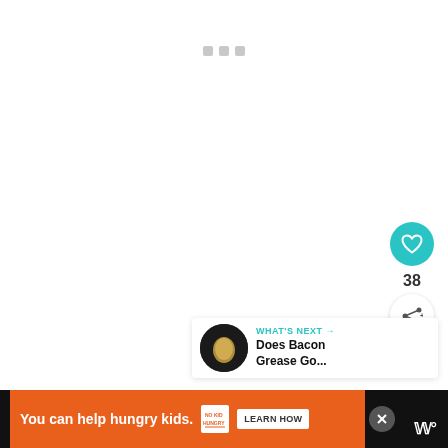[Figure (screenshot): Loading spinner / dots on a white background panel]
[Figure (screenshot): Teal heart/like button with count of 38 and a share button below]
[Figure (screenshot): What's Next card showing an egg image and text 'Does Bacon Grease Go...']
[Figure (screenshot): Orange advertisement banner: 'You can help hungry kids.' with No Kid Hungry logo and LEARN HOW button]
38
WHAT'S NEXT →
Does Bacon Grease Go...
You can help hungry kids.
LEARN HOW